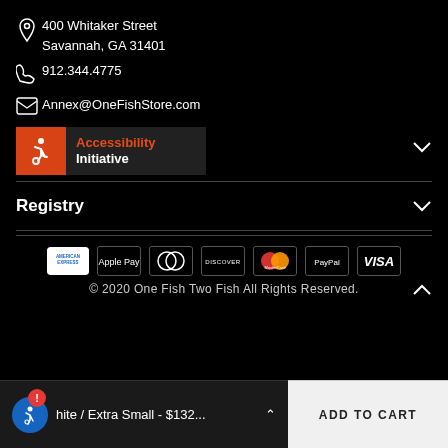400 Whitaker Street
Savannah, GA 31401
912.344.4775
Annex@OneFishStore.com
[Figure (logo): Accessibility Initiative badge with wheelchair icon on orange background]
Registry
[Figure (other): Payment method icons: American Express, Apple Pay, Diners Club, Discover, MasterCard, PayPal, VISA]
© 2020 One Fish Two Fish All Rights Reserved.
White / Extra Small - $132...
ADD TO CART